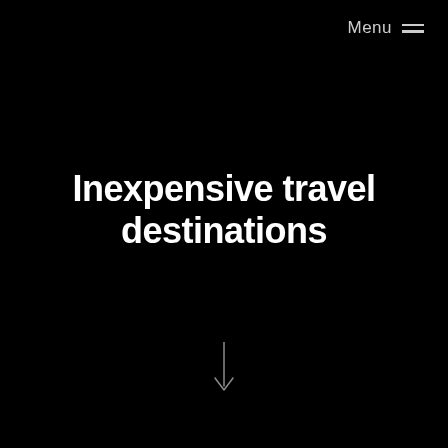Menu ≡
Inexpensive travel destinations
[Figure (other): Downward arrow icon in white/light gray, indicating scroll down]